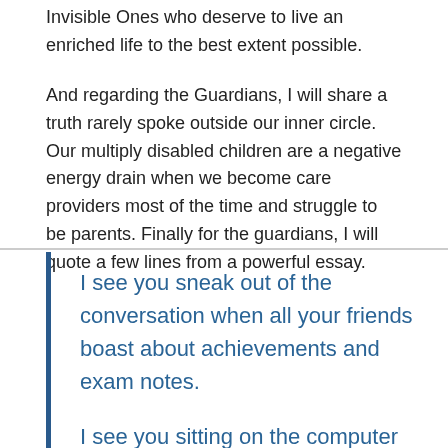Invisible Ones who deserve to live an enriched life to the best extent possible.
And regarding the Guardians, I will share a truth rarely spoke outside our inner circle. Our multiply disabled children are a negative energy drain when we become care providers most of the time and struggle to be parents. Finally for the guardians, I will quote a few lines from a powerful essay.
I see you sneak out of the conversation when all your friends boast about achievements and exam notes.
I see you sitting on the computer